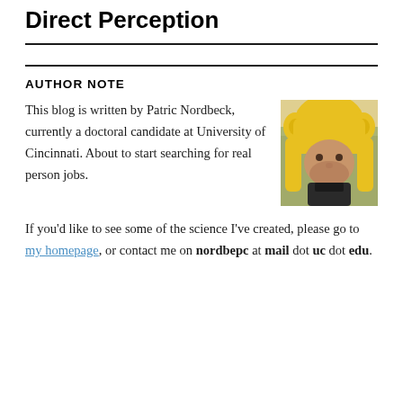Direct Perception
AUTHOR NOTE
This blog is written by Patric Nordbeck, currently a doctoral candidate at University of Cincinnati. About to start searching for real person jobs.
[Figure (photo): Photo of Patric Nordbeck wearing a yellow animal hat, outdoors.]
If you'd like to see some of the science I've created, please go to my homepage, or contact me on nordbepc at mail dot uc dot edu.